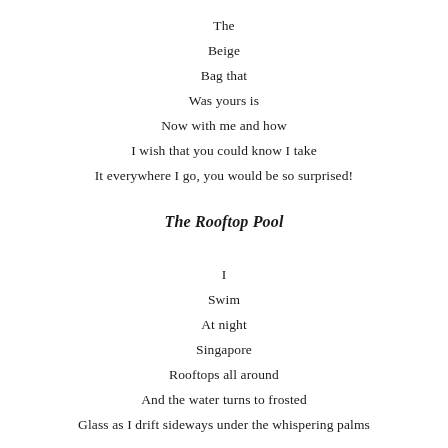The
Beige
Bag that
Was yours is
Now with me and how
I wish that you could know I take
It everywhere I go, you would be so surprised!
The Rooftop Pool
I
Swim
At night
Singapore
Rooftops all around
And the water turns to frosted
Glass as I drift sideways under the whispering palms